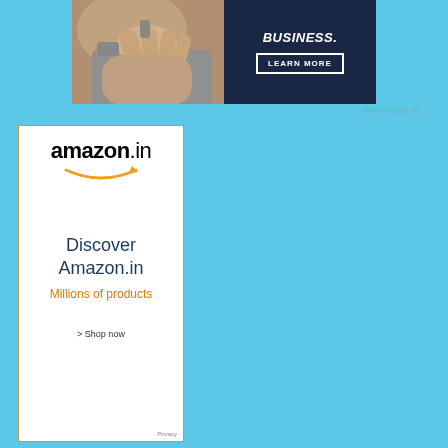[Figure (photo): Top banner advertisement showing a person's hands on the left (photo) and a dark navy blue right panel with bold italic text 'BUSINESS.' and a 'LEARN MORE' button with white border.]
REPORT THIS AD
[Figure (infographic): Amazon.in advertisement banner with orange border. Shows 'amazon.in' logo with orange smile arrow, text 'Discover Amazon.in' in dark blue, 'Millions of products' in orange, '> Shop now' link, and 'Privacy' text at bottom right.]